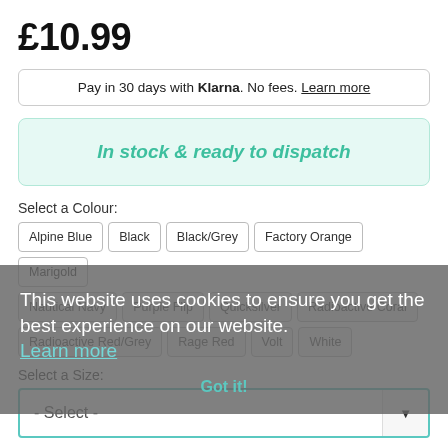£10.99
Pay in 30 days with Klarna. No fees. Learn more
In stock & ready to dispatch
Select a Colour:
Alpine Blue
Black
Black/Grey
Factory Orange
Marigold
Nautical Navy
Purple Flip
Quicksilver
Radioactive Coral
Radioactive Red/Grey
Rage Red
Volt
White
Select a Size:
- Select -
Quantity:
This website uses cookies to ensure you get the best experience on our website. Learn more Got it!